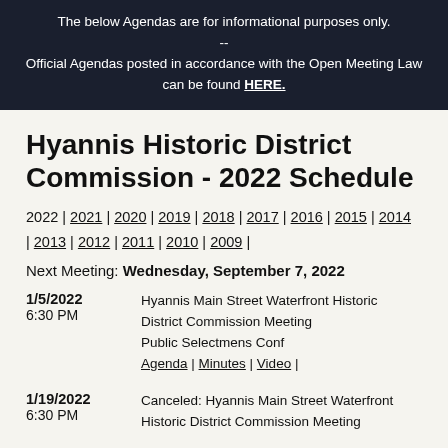The below Agendas are for informational purposes only. -- Official Agendas posted in accordance with the Open Meeting Law can be found HERE.
Hyannis Historic District Commission - 2022 Schedule
2022 | 2021 | 2020 | 2019 | 2018 | 2017 | 2016 | 2015 | 2014 | 2013 | 2012 | 2011 | 2010 | 2009 |
Next Meeting: Wednesday, September 7, 2022
1/5/2022 6:30 PM — Hyannis Main Street Waterfront Historic District Commission Meeting — Public Selectmens Conf — Agenda | Minutes | Video |
1/19/2022 6:30 PM — Canceled: Hyannis Main Street Waterfront Historic District Commission Meeting